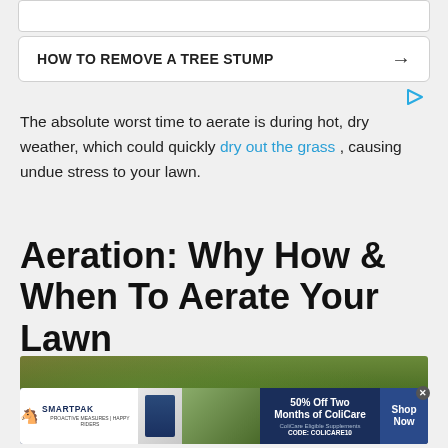[Figure (screenshot): Top white rounded-rectangle ad placeholder bar]
[Figure (screenshot): Navigation banner with bold text HOW TO REMOVE A TREE STUMP and right arrow]
[Figure (infographic): Ad attribution icon in cyan/blue triangle play button style]
The absolute worst time to aerate is during hot, dry weather, which could quickly dry out the grass , causing undue stress to your lawn.
Aeration: Why How & When To Aerate Your Lawn
[Figure (photo): Partial photo of green grass lawn with horse leg visible, infolinks badge overlay at bottom left]
[Figure (infographic): SmartPak advertisement banner: 50% Off Two Months of ColiCare, ColiCare Eligible Supplements, CODE: COLICARE10, Shop Now button]